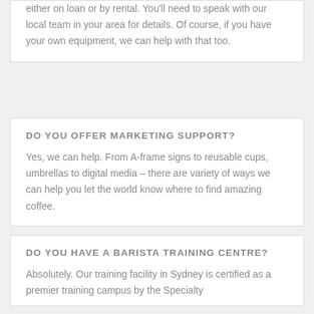either on loan or by rental. You'll need to speak with our local team in your area for details. Of course, if you have your own equipment, we can help with that too.
DO YOU OFFER MARKETING SUPPORT?
Yes, we can help. From A-frame signs to reusable cups, umbrellas to digital media – there are variety of ways we can help you let the world know where to find amazing coffee.
DO YOU HAVE A BARISTA TRAINING CENTRE?
Absolutely. Our training facility in Sydney is certified as a premier training campus by the Specialty...